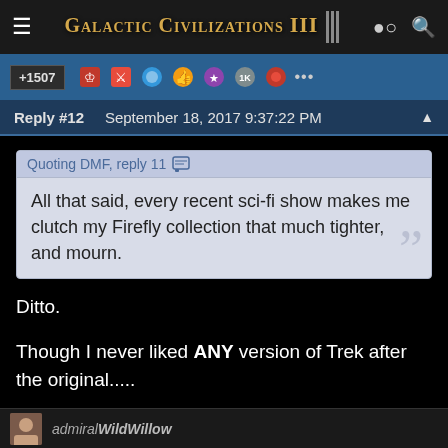Galactic Civilizations III
+1507
Reply #12   September 18, 2017 9:37:22 PM
Quoting DMF, reply 11 — All that said, every recent sci-fi show makes me clutch my Firefly collection that much tighter, and mourn.
Ditto.
Though I never liked ANY version of Trek after the original.....
ALL versions since have been somewhere between dross and crap.